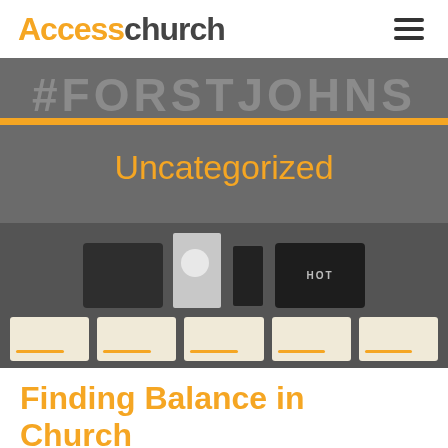Access church
[Figure (photo): Hero banner image showing a church display table with merchandise and pamphlets. Background text reads #FORSTJOHNS. An orange stripe runs horizontally across the top portion. Center text reads 'Uncategorized' in orange.]
Finding Balance in Church